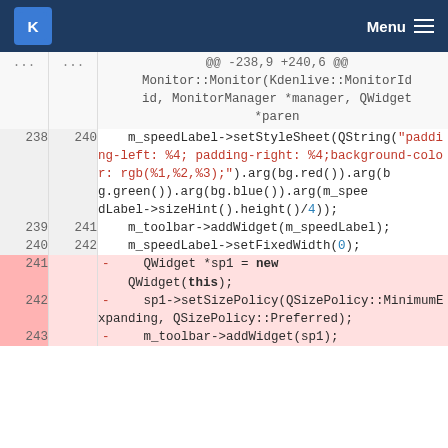KDE Menu
@@ -238,9 +240,6 @@ Monitor::Monitor(Kdenlive::MonitorId id, MonitorManager *manager, QWidget *paren
238 240     m_speedLabel->setStyleSheet(QString("padding-left: %4; padding-right: %4;background-color: rgb(%1,%2,%3);").arg(bg.red()).arg(bg.green()).arg(bg.blue()).arg(m_speedLabel->sizeHint().height()/4));
239 241     m_toolbar->addWidget(m_speedLabel);
240 242     m_speedLabel->setFixedWidth(0);
241 -     QWidget *sp1 = new QWidget(this);
242 -     sp1->setSizePolicy(QSizePolicy::MinimumExpanding, QSizePolicy::Preferred);
243 -     m_toolbar->addWidget(sp1);